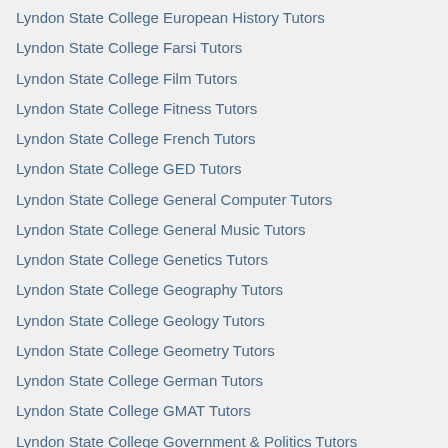Lyndon State College European History Tutors
Lyndon State College Farsi Tutors
Lyndon State College Film Tutors
Lyndon State College Fitness Tutors
Lyndon State College French Tutors
Lyndon State College GED Tutors
Lyndon State College General Computer Tutors
Lyndon State College General Music Tutors
Lyndon State College Genetics Tutors
Lyndon State College Geography Tutors
Lyndon State College Geology Tutors
Lyndon State College Geometry Tutors
Lyndon State College German Tutors
Lyndon State College GMAT Tutors
Lyndon State College Government & Politics Tutors
Lyndon State College Grammar Tutors